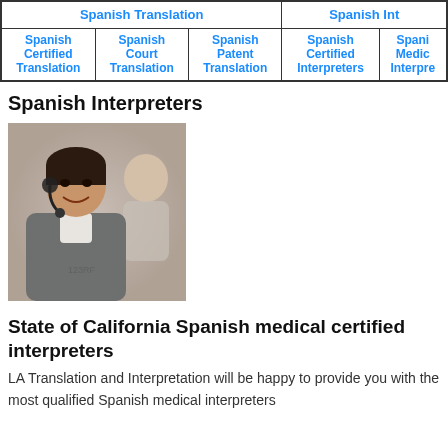| Spanish Translation |  |  | Spanish Int |  |
| --- | --- | --- | --- | --- |
| Spanish Certified Translation | Spanish Court Translation | Spanish Patent Translation | Spanish Certified Interpreters | Spani Medic Interpre |
Spanish Interpreters
[Figure (photo): Photo of a smiling woman wearing a headset, with another person in the background, suggesting professional interpreters/translators]
State of California Spanish medical certified interpreters
LA Translation and Interpretation will be happy to provide you with the most qualified Spanish medical interpreters